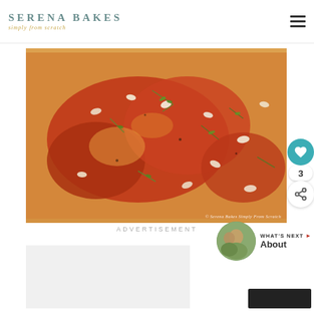SERENA BAKES simply from scratch
[Figure (photo): Close-up photo of a baking pan with tomato-based sauce, chopped garlic, and fresh herbs (rosemary/thyme). Copyright watermark reads: © Serena Bakes Simply From Scratch]
3
ADVERTISEMENT
WHAT'S NEXT → About